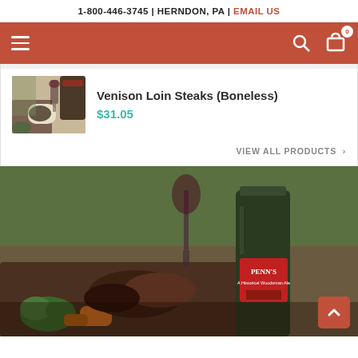1-800-446-3745 | HERNDON, PA | EMAIL US
[Figure (screenshot): Navigation bar with hamburger menu on left, search icon and cart icon (badge 0) on right, terracotta/red background]
[Figure (photo): Small product thumbnail showing venison steak on a plate with wine bottle]
Venison Loin Steaks (Boneless)
$31.05
VIEW ALL PRODUCTS >
[Figure (photo): Large food photo showing grilled meats and vegetables on a table with a Penn's beer bottle and a glass of red wine in the background]